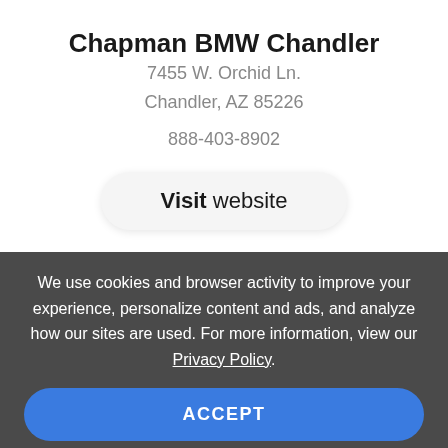Chapman BMW Chandler
7455 W. Orchid Ln.
Chandler, AZ 85226
888-403-8902
Visit website
We use cookies and browser activity to improve your experience, personalize content and ads, and analyze how our sites are used. For more information, view our Privacy Policy.
ACCEPT